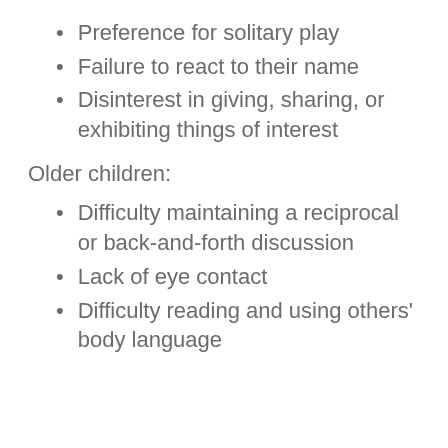Preference for solitary play
Failure to react to their name
Disinterest in giving, sharing, or exhibiting things of interest
Older children:
Difficulty maintaining a reciprocal or back-and-forth discussion
Lack of eye contact
Difficulty reading and using others' body language